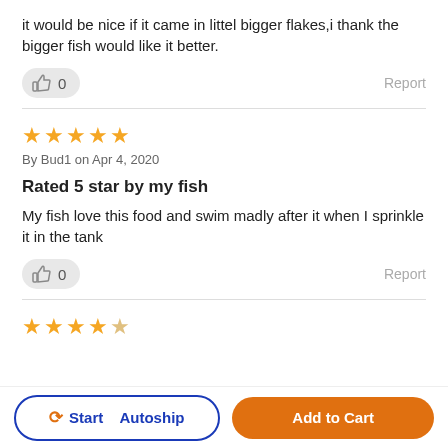it would be nice if it came in littel bigger flakes,i thank the bigger fish would like it better.
👍 0   Report
★★★★★
By Bud1 on Apr 4, 2020
Rated 5 star by my fish
My fish love this food and swim madly after it when I sprinkle it in the tank
👍 0   Report
★★★★☆
Start 🔄 Autoship
Add to Cart